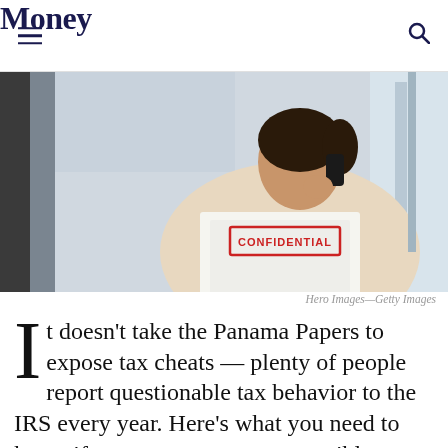Money
[Figure (photo): Woman in beige top talking on phone while holding a folder stamped CONFIDENTIAL]
Hero Images—Getty Images
It doesn't take the Panama Papers to expose tax cheats — plenty of people report questionable tax behavior to the IRS every year. Here's what you need to know if you want to report a possible tax crook and perhaps get a reward.